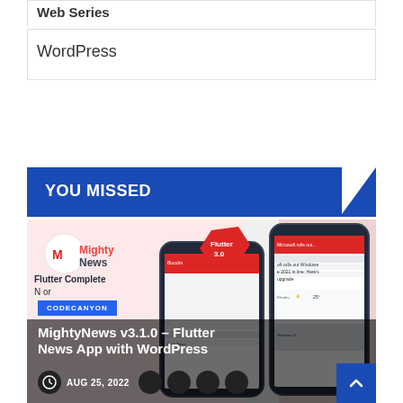Web Series
WordPress
YOU MISSED
[Figure (screenshot): MightyNews Flutter News App promotional image with phone mockups showing a news app interface, Flutter 3.0 badge, and CODECANYON label]
MightyNews v3.1.0 – Flutter News App with WordPress
AUG 25, 2022